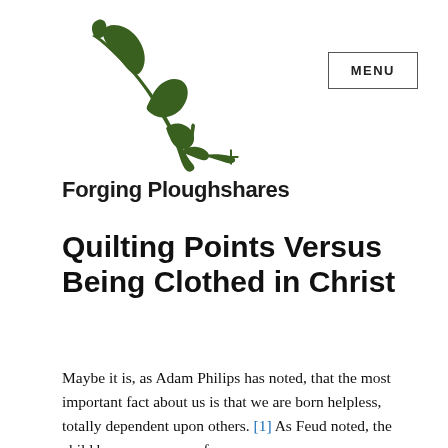[Figure (logo): Forging Ploughshares logo: a dark green stylized plough with a plant/leaf growing from it]
Forging Ploughshares
[Figure (other): MENU button with border]
Quilting Points Versus Being Clothed in Christ
Maybe it is, as Adam Philips has noted, that the most important fact about us is that we are born helpless, totally dependent upon others. [1] As Feud noted, the child becomes aware of